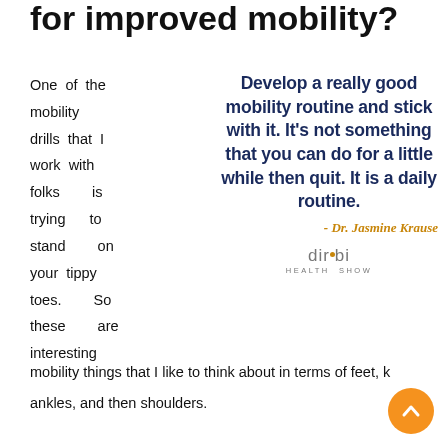for improved mobility?
One of the mobility drills that I work with folks is trying to stand on your tippy toes. So these are interesting mobility things that I like to think about in terms of feet, k ankles, and then shoulders.
[Figure (infographic): Quote block: 'Develop a really good mobility routine and stick with it. It's not something that you can do for a little while then quit. It is a daily routine.' attributed to Dr. Jasmine Krause, with Dirobi Health Show logo below.]